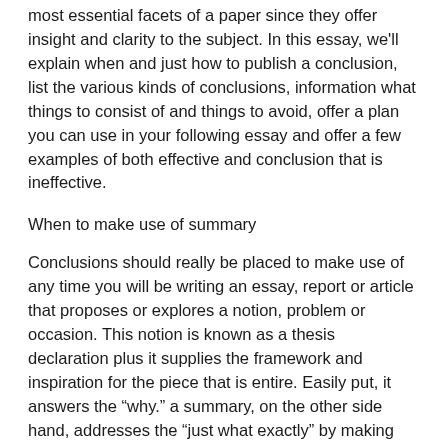most essential facets of a paper since they offer insight and clarity to the subject. In this essay, we'll explain when and just how to publish a conclusion, list the various kinds of conclusions, information what things to consist of and things to avoid, offer a plan you can use in your following essay and offer a few examples of both effective and conclusion that is ineffective.
When to make use of summary
Conclusions should really be placed to make use of any time you will be writing an essay, report or article that proposes or explores a notion, problem or occasion. This notion is known as a thesis declaration plus it supplies the framework and inspiration for the piece that is entire. Easily put, it answers the “why.” a summary, on the other side hand, addresses the “just what exactly” by making clear the idea regarding the essay and providing the audience a remedy, concern or understanding of the matter that is subject reiterates why they ought to care.
Just how to compose a summary? a conclusion